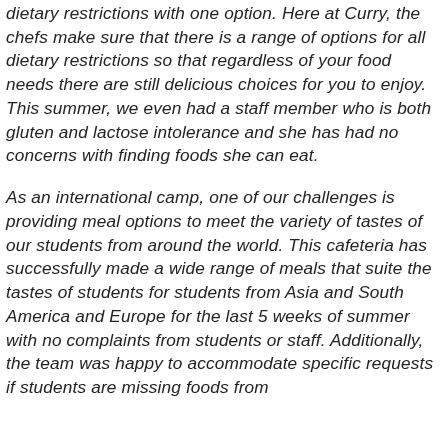dietary restrictions with one option. Here at Curry, the chefs make sure that there is a range of options for all dietary restrictions so that regardless of your food needs there are still delicious choices for you to enjoy. This summer, we even had a staff member who is both gluten and lactose intolerance and she has had no concerns with finding foods she can eat.
As an international camp, one of our challenges is providing meal options to meet the variety of tastes of our students from around the world. This cafeteria has successfully made a wide range of meals that suite the tastes of students for students from Asia and South America and Europe for the last 5 weeks of summer with no complaints from students or staff. Additionally, the team was happy to accommodate specific requests if students are missing foods from